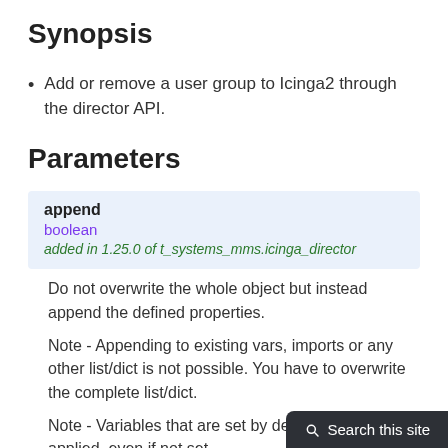Synopsis
Add or remove a user group to Icinga2 through the director API.
Parameters
append
boolean
added in 1.25.0 of t_systems_mms.icinga_director
Do not overwrite the whole object but instead append the defined properties.

Note - Appending to existing vars, imports or any other list/dict is not possible. You have to overwrite the complete list/dict.

Note - Variables that are set by default will also be applied, even if not set.

Choices: